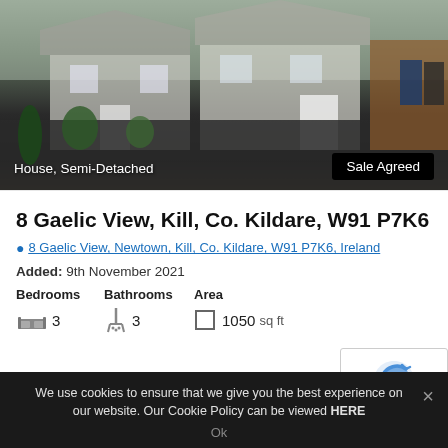[Figure (photo): Exterior photo of a semi-detached house with a dark tarmac driveway, small garden with shrubs and plants. A wooden fence and bins are visible on the right side.]
House, Semi-Detached
Sale Agreed
8 Gaelic View, Kill, Co. Kildare, W91 P7K6
8 Gaelic View, Newtown, Kill, Co. Kildare, W91 P7K6, Ireland
Added: 9th November 2021
Bedrooms  Bathrooms  Area
3  3  1050 sq ft
We use cookies to ensure that we give you the best experience on our website. Our Cookie Policy can be viewed HERE
Ok